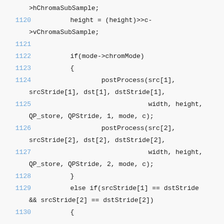Code listing lines 1119-1130: C source code showing chroma subsampling, postProcess calls, and conditional branching
1120    height = (height)>>c->vChromaSubSample;
1121    (empty)
1122        if(mode->chromMode)
1123        {
1124            postProcess(src[1], srcStride[1], dst[1], dstStride[1],
1125                        width, height, QP_store, QPStride, 1, mode, c);
1126            postProcess(src[2], srcStride[2], dst[2], dstStride[2],
1127                        width, height, QP_store, QPStride, 2, mode, c);
1128        }
1129        else if(srcStride[1] == dstStride && srcStride[2] == dstStride[2])
1130        {